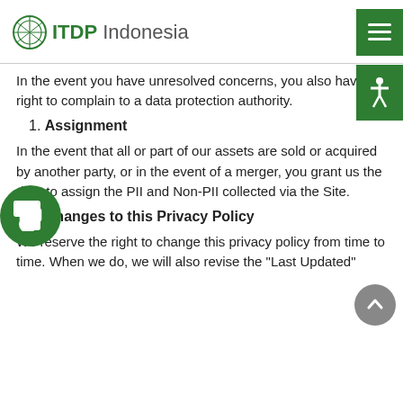ITDP Indonesia
In the event you have unresolved concerns, you also have the right to complain to a data protection authority.
1. Assignment
In the event that all or part of our assets are sold or acquired by another party, or in the event of a merger, you grant us the right to assign the PII and Non-PII collected via the Site.
1. Changes to this Privacy Policy
We reserve the right to change this privacy policy from time to time. When we do, we will also revise the "Last Updated"